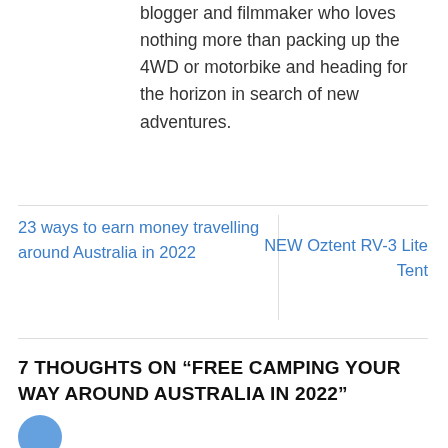blogger and filmmaker who loves nothing more than packing up the 4WD or motorbike and heading for the horizon in search of new adventures.
23 ways to earn money travelling around Australia in 2022
NEW Oztent RV-3 Lite Tent
7 THOUGHTS ON “FREE CAMPING YOUR WAY AROUND AUSTRALIA IN 2022”